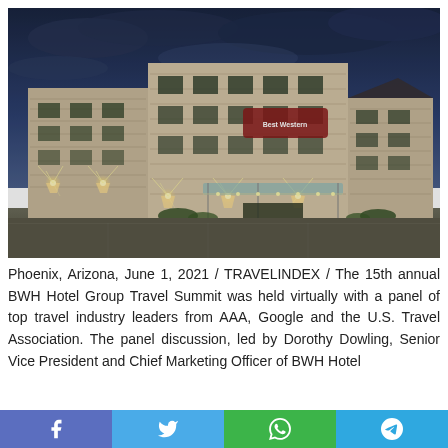[Figure (photo): Exterior night shot of a Best Western Premier hotel building with stone facade, warm uplighting on walls, illuminated entrance canopy with string lights, and dramatic cloudy sky.]
Phoenix, Arizona, June 1, 2021 / TRAVELINDEX / The 15th annual BWH Hotel Group Travel Summit was held virtually with a panel of top travel industry leaders from AAA, Google and the U.S. Travel Association. The panel discussion, led by Dorothy Dowling, Senior Vice President and Chief Marketing Officer of BWH Hotel